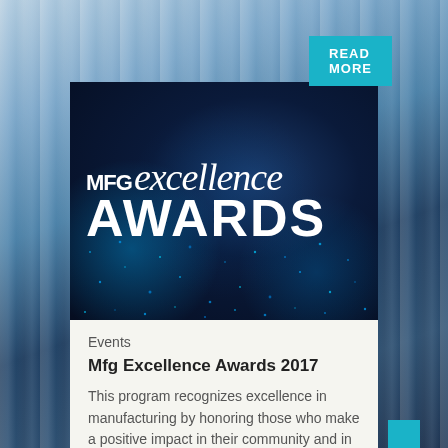READ MORE
[Figure (logo): MFG Excellence Awards 2017 logo — white text on dark navy/blue glittery background. 'MFG' on the left, 'excellence' in italic script, 'AWARDS' in large bold uppercase letters.]
Events
Mfg Excellence Awards 2017
This program recognizes excellence in manufacturing by honoring those who make a positive impact in their community and in their industry.